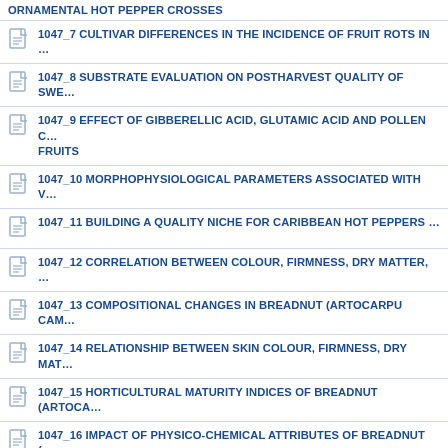ORNAMENTAL HOT PEPPER CROSSES
1047_7 CULTIVAR DIFFERENCES IN THE INCIDENCE OF FRUIT ROTS IN ...
1047_8 SUBSTRATE EVALUATION ON POSTHARVEST QUALITY OF SWE...
1047_9 EFFECT OF GIBBERELLIC ACID, GLUTAMIC ACID AND POLLEN C... FRUITS
1047_10 MORPHOPHYSIOLOGICAL PARAMETERS ASSOCIATED WITH V...
1047_11 BUILDING A QUALITY NICHE FOR CARIBBEAN HOT PEPPERS ...
1047_12 CORRELATION BETWEEN COLOUR, FIRMNESS, DRY MATTER, ...
1047_13 COMPOSITIONAL CHANGES IN BREADNUT (ARTOCARPU CAM...
1047_14 RELATIONSHIP BETWEEN SKIN COLOUR, FIRMNESS, DRY MAT...
1047_15 HORTICULTURAL MATURITY INDICES OF BREADNUT (ARTOCA...
1047_16 IMPACT OF PHYSICO-CHEMICAL ATTRIBUTES OF BREADNUT (... MATURITY ON POST-COOKING QUALITY